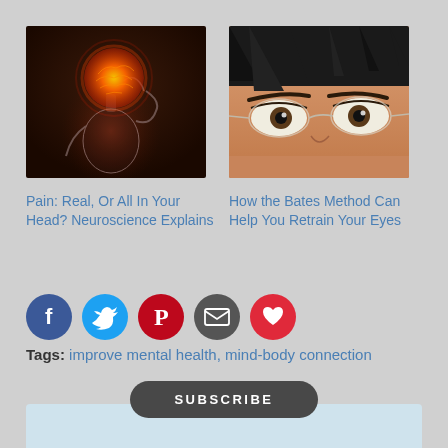[Figure (photo): Glowing orange brain with a transparent human figure holding its head, representing pain or neurological activity, on dark background]
[Figure (photo): Close-up of a woman's eyes wearing rimless glasses, looking over the frames]
Pain: Real, Or All In Your Head? Neuroscience Explains
How the Bates Method Can Help You Retrain Your Eyes
[Figure (infographic): Social sharing buttons: Facebook (blue), Twitter (light blue), Pinterest (red), Email (dark gray), Heart/like (red)]
Tags: improve mental health, mind-body connection
[Figure (other): SUBSCRIBE button (dark rounded pill shape) above a light blue subscription box area]